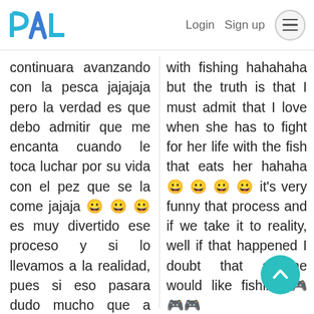PAL — Login Sign up
continuara avanzando con la pesca jajajaja pero la verdad es que debo admitir que me encanta cuando le toca luchar por su vida con el pez que se la come jajaja 😁 😁 😁 es muy divertido ese proceso y si lo llevamos a la realidad, pues si eso pasara dudo mucho que a alguien le gusto pescar 🎮🎮🎮🎮
with fishing hahahaha but the truth is that I must admit that I love when she has to fight for her life with the fish that eats her hahaha 😁 😁 😁 😁 it's very funny that process and if we take it to reality, well if that happened I doubt that anyone would like fishing 🎮🎮🎮